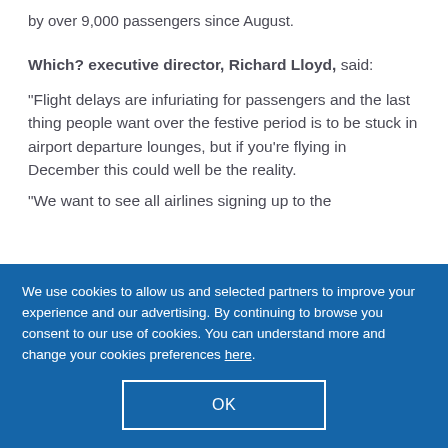by over 9,000 passengers since August.
Which? executive director, Richard Lloyd, said:
“Flight delays are infuriating for passengers and the last thing people want over the festive period is to be stuck in airport departure lounges, but if you’re flying in December this could well be the reality.
“We want to see all airlines signing up to the
We use cookies to allow us and selected partners to improve your experience and our advertising. By continuing to browse you consent to our use of cookies. You can understand more and change your cookies preferences here.
OK